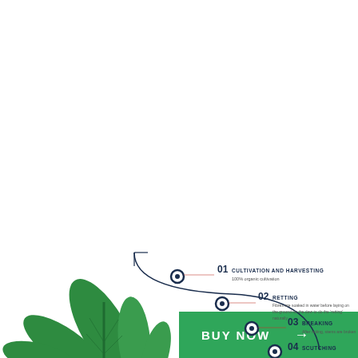[Figure (other): Green BUY NOW button with arrow]
[Figure (infographic): Hemp plant processing steps infographic showing curved timeline with nodes: 01 Cultivation and Harvesting, 02 Retting, 03 Breaking, 04 Scutching. Hemp leaf illustration on left side.]